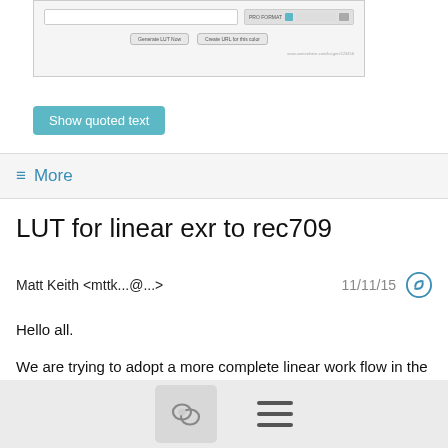[Figure (screenshot): Screenshot of a software UI showing a dialog box with input fields and buttons labeled 'Generate LUT Now' and 'Create URL for this color']
Show quoted text
≡ More
LUT for linear exr to rec709
Matt Keith <mttk...@...>   11/11/15
Hello all.

We are trying to adopt a more complete linear work flow in the 3D department of the vfx company that I work for.

The problem that we currently have is that 3D software ( in our